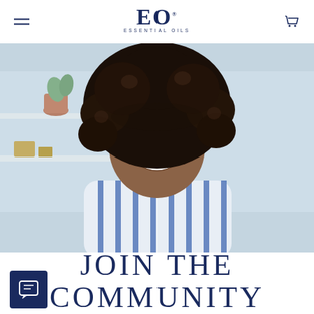EO ESSENTIAL OILS
[Figure (photo): Smiling woman with natural afro hair, wearing a blue and white striped shirt, photographed in a bright kitchen/café setting with blurred shelves in background.]
JOIN THE COMMUNITY